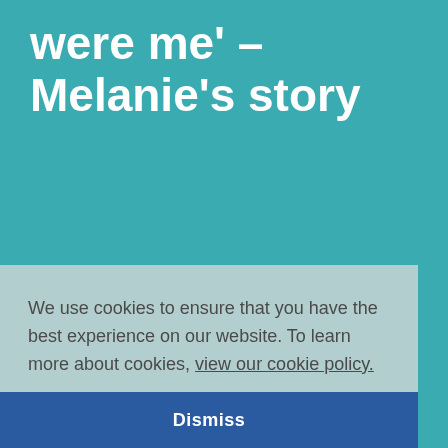were me' – Melanie's story
We use cookies to ensure that you have the best experience on our website. To learn more about cookies, view our cookie policy.
Dismiss